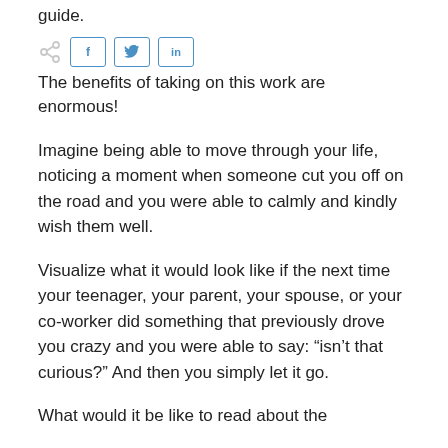guide.
[Figure (other): Social share icons: share icon, Facebook (f), Twitter (bird), LinkedIn (in) buttons]
The benefits of taking on this work are enormous!
Imagine being able to move through your life, noticing a moment when someone cut you off on the road and you were able to calmly and kindly wish them well.
Visualize what it would look like if the next time your teenager, your parent, your spouse, or your co-worker did something that previously drove you crazy and you were able to say: “isn’t that curious?” And then you simply let it go.
What would it be like to read about the